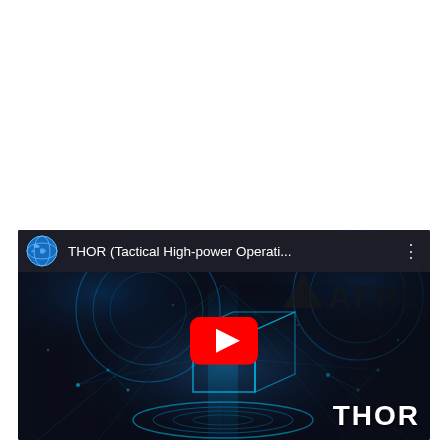[Figure (screenshot): YouTube video thumbnail for 'THOR (Tactical High-power Operati...' showing a dark futuristic digital/tech background with glowing blue circular patterns, a 3D cube outline, and network lines. AFRL logo visible in upper right. A red YouTube play button is centered on the image. 'THOR' text appears in large white letters at bottom right. Top bar shows a globe icon and video title.]